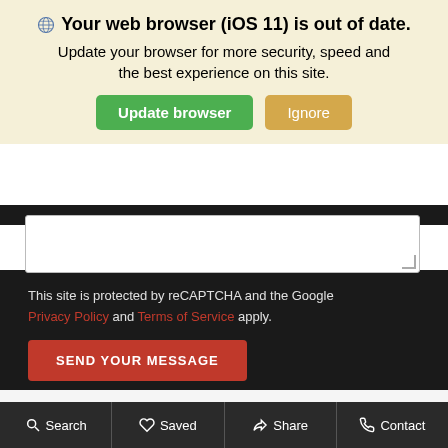🌐 Your web browser (iOS 11) is out of date. Update your browser for more security, speed and the best experience on this site.
Update browser | Ignore
This site is protected by reCAPTCHA and the Google Privacy Policy and Terms of Service apply.
SEND YOUR MESSAGE
[Figure (screenshot): Gray textured background photo area]
[Figure (other): Social media icons: Facebook, YouTube, Instagram]
Search | Saved | Share | Contact